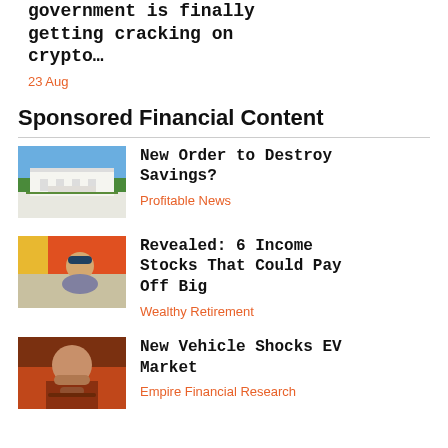government is finally getting cracking on crypto…
23 Aug
Sponsored Financial Content
[Figure (photo): White House building with blue sky and green trees]
New Order to Destroy Savings?
Profitable News
[Figure (photo): Person relaxing at beach with sunglasses, yellow and orange background]
Revealed: 6 Income Stocks That Could Pay Off Big
Wealthy Retirement
[Figure (photo): Man with beard and mustache against dark orange background]
New Vehicle Shocks EV Market
Empire Financial Research